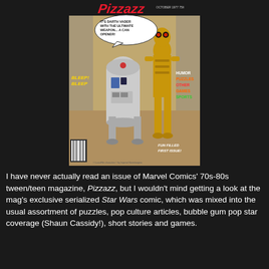[Figure (photo): Cover of Pizzazz magazine, October 1977, 75 cents. Features R2-D2 and C-3PO from Star Wars. A speech bubble reads 'IT'S DARTH VADER WITH THE ULTIMATE WEAPON... A CAN OPENER!' Text on the left says 'BLEEP BLEEP BLEEP'. Right side lists contents: HUMOR, PUZZLES, OTHER, GAMES, SPORTS. Bottom right reads 'FUN FILLED FIRST ISSUE!'. Title 'Pizzazz' in large red letters at top.]
I have never actually read an issue of Marvel Comics' 70s-80s tween/teen magazine, Pizzazz, but I wouldn't mind getting a look at the mag's exclusive serialized Star Wars comic, which was mixed into the usual assortment of puzzles, pop culture articles, bubble gum pop star coverage (Shaun Cassidy!), short stories and games.